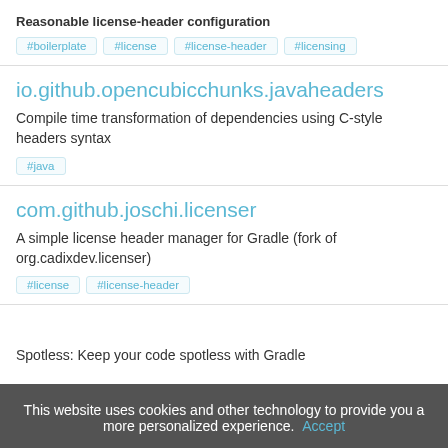Reasonable license-header configuration
#boilerplate
#license
#license-header
#licensing
io.github.opencubicchunks.javaheaders
Compile time transformation of dependencies using C-style headers syntax
#java
com.github.joschi.licenser
A simple license header manager for Gradle (fork of org.cadixdev.licenser)
#license
#license-header
Spotless: Keep your code spotless with Gradle
This website uses cookies and other technology to provide you a more personalized experience. Accept